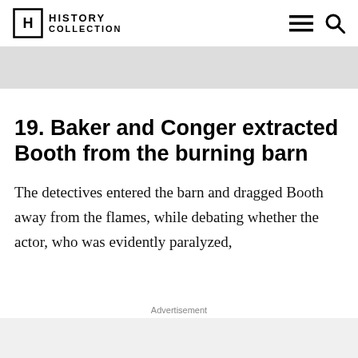HISTORY COLLECTION
[Figure (other): Gray banner advertisement placeholder]
19. Baker and Conger extracted Booth from the burning barn
The detectives entered the barn and dragged Booth away from the flames, while debating whether the actor, who was evidently paralyzed,
Advertisement